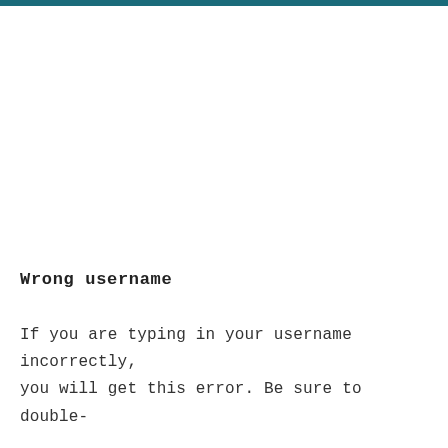Wrong username
If you are typing in your username incorrectly, you will get this error. Be sure to double-